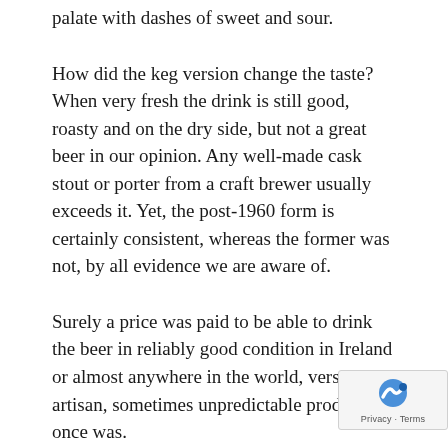palate with dashes of sweet and sour.
How did the keg version change the taste? When very fresh the drink is still good, roasty and on the dry side, but not a great beer in our opinion. Any well-made cask stout or porter from a craft brewer usually exceeds it. Yet, the post-1960 form is certainly consistent, whereas the former was not, by all evidence we are aware of.
Surely a price was paid to be able to drink the beer in reliably good condition in Ireland or almost anywhere in the world, versus the artisan, sometimes unpredictable product it once was.
Finally, we should note that since the 1970s at least, Guinness uses a fair amount of unmalted barley in the beer. Originally and until some point